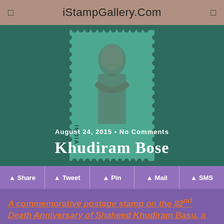iStampGallery.Com
[Figure (photo): Indian commemorative postage stamp featuring Khudiram Bose statue/sculpture, teal/green toned, with perforated edges and 'INDIA' text visible. Overlaid with date 'August 24, 2015 • No Comments' and title 'Khudiram Bose']
August 24, 2015 • No Comments
Khudiram Bose
Share   Tweet   Pin   Mail   SMS
A commemorative postage stamp on the 82nd Death Anniversary of Shaheed Khudiram Basu, a Bengali-Indian revolutionary :
[Figure (photo): Bottom portion of an Indian postage stamp showing the Hindi/Devanagari text 'खुदीराम बोस' (Khudiram Bose) and a tricolor Indian flag design on the left side]